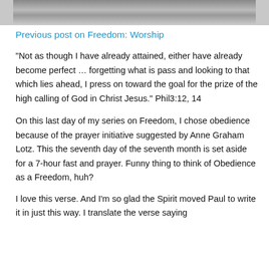[Figure (photo): Partial black and white photograph visible at the top of the page, cropped]
Previous post on Freedom: Worship
“Not as though I have already attained, either have already become perfect … forgetting what is pass and looking to that which lies ahead, I press on toward the goal for the prize of the high calling of God in Christ Jesus.” Phil3:12, 14
On this last day of my series on Freedom, I chose obedience because of the prayer initiative suggested by Anne Graham Lotz. This the seventh day of the seventh month is set aside for a 7-hour fast and prayer. Funny thing to think of Obedience as a Freedom, huh?
I love this verse. And I’m so glad the Spirit moved Paul to write it in just this way. I translate the verse saying